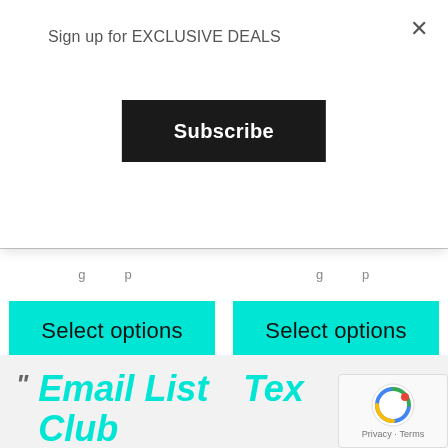Sign up for EXCLUSIVE DEALS
Subscribe
Select options
Select options
Email List Club
Text